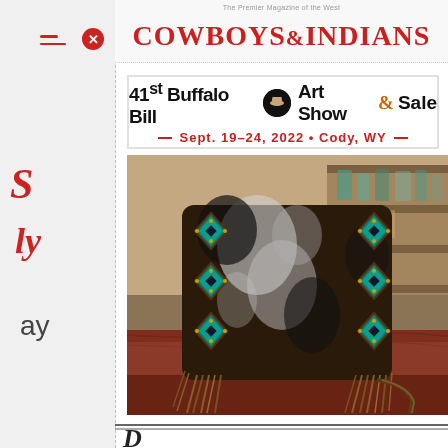Cowboys & Indians
[Figure (other): 41st Buffalo Bill Art Show & Sale advertisement banner. Sept. 19-24, 2022 · Cody, WY]
[Figure (photo): A decorative leather handbag/purse with turquoise diamond-pattern inlays and long fringe, photographed on a wooden table in a western store setting.]
Partially visible text at bottom (article title beginning)